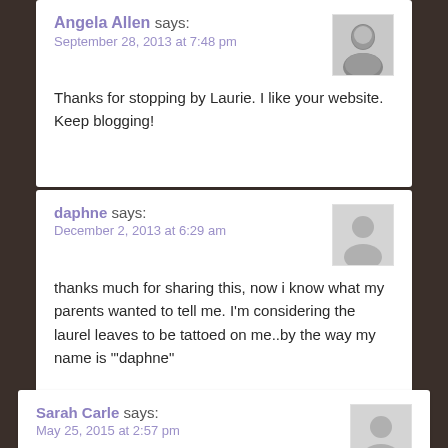Angela Allen says:
September 28, 2013 at 7:48 pm
Thanks for stopping by Laurie. I like your website. Keep blogging!
daphne says:
December 2, 2013 at 6:29 am
thanks much for sharing this, now i know what my parents wanted to tell me. I’m considering the laurel leaves to be tattoed on me..by the way my name is “’daphne”
Sarah Carle says:
May 25, 2015 at 2:57 pm